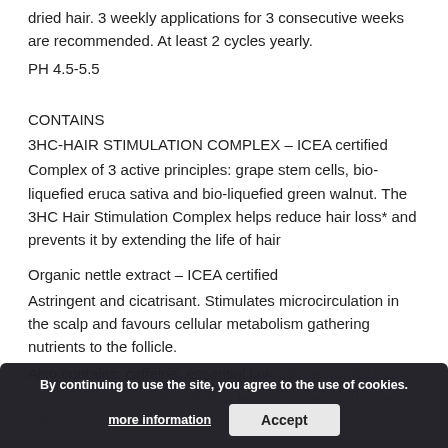dried hair. 3 weekly applications for 3 consecutive weeks are recommended. At least 2 cycles yearly.
PH 4.5-5.5
CONTAINS
3HC-HAIR STIMULATION COMPLEX – ICEA certified
Complex of 3 active principles: grape stem cells, bio-liquefied eruca sativa and bio-liquefied green walnut. The 3HC Hair Stimulation Complex helps reduce hair loss* and prevents it by extending the life of hair
Organic nettle extract – ICEA certified
Astringent and cicatrisant. Stimulates microcirculation in the scalp and favours cellular metabolism gathering nutrients to the follicle.
Also contains: caffeine, essential lavender essential oil, piroctone olamine, vitis vinifera leaves extract and clover extract.
By continuing to use the site, you agree to the use of cookies.
more information
Accept